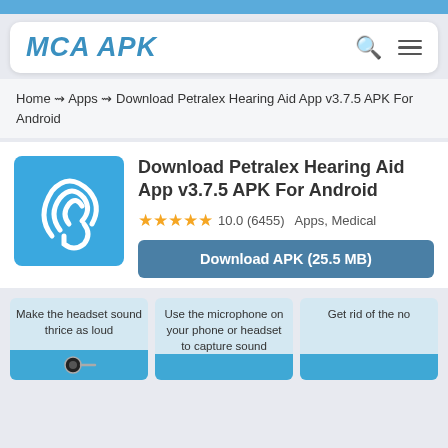MCA APK
Home ↝ Apps ↝ Download Petralex Hearing Aid App v3.7.5 APK For Android
Download Petralex Hearing Aid App v3.7.5 APK For Android
★★★★★ 10.0 (6455)  Apps, Medical
Download APK (25.5 MB)
Make the headset sound thrice as loud
Use the microphone on your phone or headset to capture sound
Get rid of the no